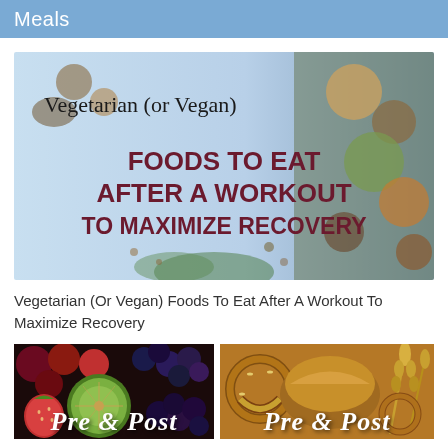Meals
[Figure (illustration): Decorative image showing various vegetables and plant-based foods with text overlay: 'Vegetarian (or Vegan) FOODS TO EAT AFTER A WORKOUT TO MAXIMIZE RECOVERY']
Vegetarian (Or Vegan) Foods To Eat After A Workout To Maximize Recovery
[Figure (photo): Left: colorful fresh fruits including strawberries, kiwi, grapes, blueberries. Right: assorted baked goods and pretzels. Bottom text overlay reads 'Pre & Post']